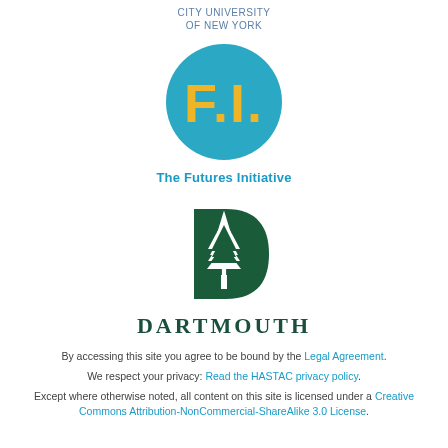CITY UNIVERSITY
OF NEW YORK
[Figure (logo): The Futures Initiative logo: teal circle with yellow F.I. text]
The Futures Initiative
[Figure (logo): Dartmouth logo: green letter D with white pine tree]
DARTMOUTH
By accessing this site you agree to be bound by the Legal Agreement.
We respect your privacy: Read the HASTAC privacy policy.
Except where otherwise noted, all content on this site is licensed under a Creative Commons Attribution-NonCommercial-ShareAlike 3.0 License.